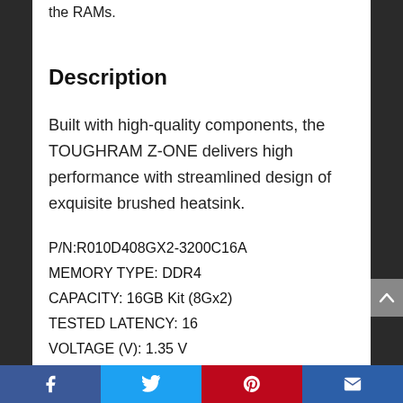the RAMs.
Description
Built with high-quality components, the TOUGHRAM Z-ONE delivers high performance with streamlined design of exquisite brushed heatsink.
P/N:R010D408GX2-3200C16A
MEMORY TYPE: DDR4
CAPACITY: 16GB Kit (8Gx2)
TESTED LATENCY: 16
VOLTAGE (V): 1.35 V